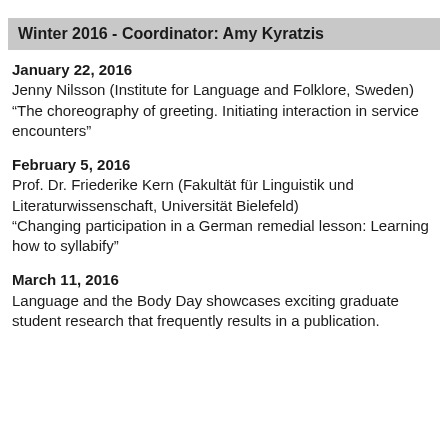Winter 2016 - Coordinator: Amy Kyratzis
January 22, 2016
Jenny Nilsson (Institute for Language and Folklore, Sweden)
“The choreography of greeting. Initiating interaction in service encounters”
February 5, 2016
Prof. Dr. Friederike Kern (Fakultät für Linguistik und Literaturwissenschaft, Universität Bielefeld)
“Changing participation in a German remedial lesson: Learning how to syllabify”
March 11, 2016
Language and the Body Day showcases exciting graduate student research that frequently results in a publication.